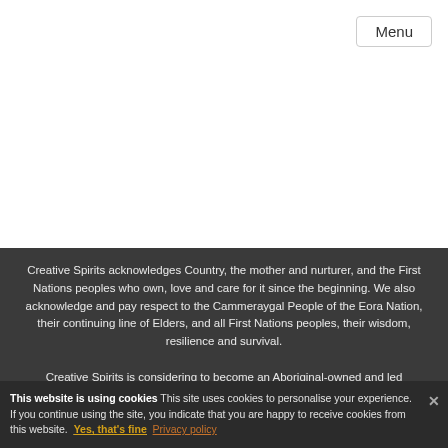Menu
Creative Spirits acknowledges Country, the mother and nurturer, and the First Nations peoples who own, love and care for it since the beginning. We also acknowledge and pay respect to the Cammeraygal People of the Eora Nation, their continuing line of Elders, and all First Nations peoples, their wisdom, resilience and survival.
Creative Spirits is considering to become an Aboriginal-owned and led organisation. Read why
This website is using cookies This site uses cookies to personalise your experience. If you continue using the site, you indicate that you are happy to receive cookies from this website. Yes, that's fine Privacy policy